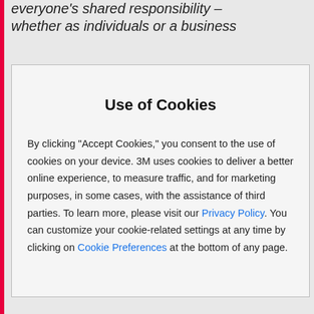everyone's shared responsibility – whether as individuals or a business
Use of Cookies
By clicking "Accept Cookies," you consent to the use of cookies on your device. 3M uses cookies to deliver a better online experience, to measure traffic, and for marketing purposes, in some cases, with the assistance of third parties. To learn more, please visit our Privacy Policy. You can customize your cookie-related settings at any time by clicking on Cookie Preferences at the bottom of any page.